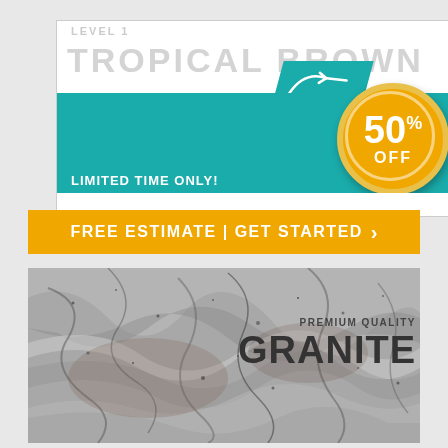[Figure (infographic): Promotional ad banner for Tropical Brown granite countertop. Teal background with LIMITED TIME ONLY text, old price $3,599 crossed out, new price $1,799, up-to 35 sq.ft Package Deal, and orange circle badge showing 50% OFF.]
FREE ESTIMATE | GET STARTED >
[Figure (photo): Close-up photo of Tropical Brown granite stone surface with swirling grey and brown patterns, labeled PREMIUM QUALITY GRANITE in the upper right.]